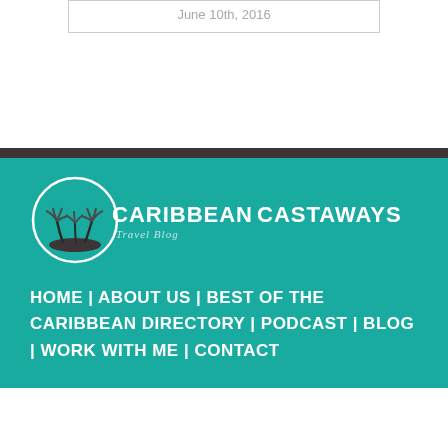June 10th, 2016
[Figure (logo): Caribbean Castaways Travel Blog logo: circular emblem with palm trees on a beach, flanked by the text CARIBBEAN on the left and CASTAWAYS on the right, with Travel Blog below in italics.]
HOME | ABOUT US | BEST OF THE CARIBBEAN DIRECTORY | PODCAST | BLOG | WORK WITH ME | CONTACT